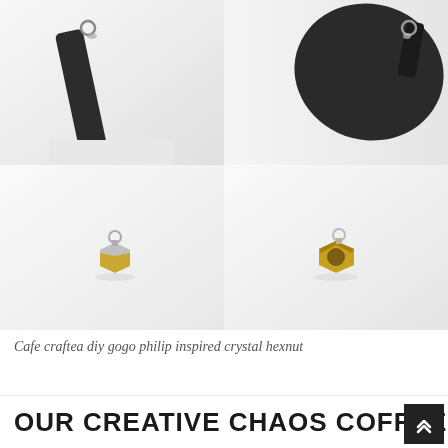[Figure (photo): Four product photos of jewelry hardware: top-left shows a dark metal clasp/strap with a small loop ring at top; top-right shows a dark oval/round metal piece with a small loop connector; bottom-left shows a small hexagonal gold and silver nut charm with a loop ring; bottom-right shows a small hexagonal gold nut charm with a loop ring, viewed from a slightly different angle.]
Cafe craftea diy gogo philip inspired crystal hexnut
OUR CREATIVE CHAOS COFFEE DIY HEX